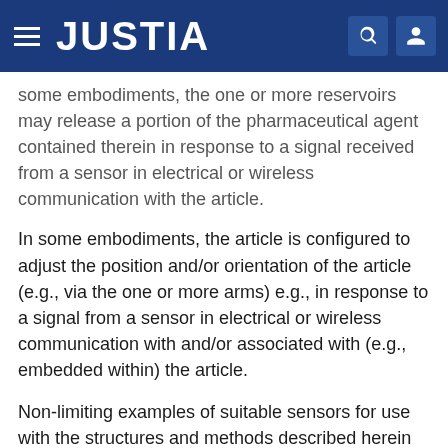JUSTIA
some embodiments, the one or more reservoirs may release a portion of the pharmaceutical agent contained therein in response to a signal received from a sensor in electrical or wireless communication with the article.
In some embodiments, the article is configured to adjust the position and/or orientation of the article (e.g., via the one or more arms) e.g., in response to a signal from a sensor in electrical or wireless communication with and/or associated with (e.g., embedded within) the article.
Non-limiting examples of suitable sensors for use with the structures and methods described herein include radiation sensors, chemical toxin sensors, temperature sensors (e.g., monitoring internal temperature, ambient temperature, temperature of a component associated